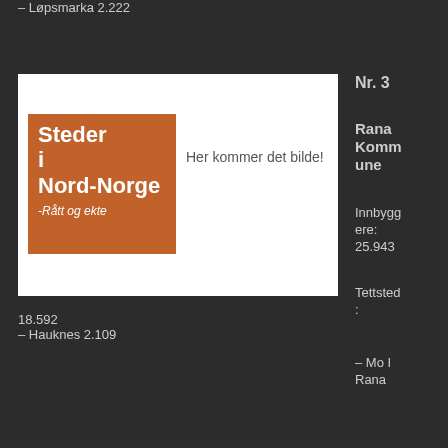– Løpsmarka 2.222
[Figure (illustration): Book cover or logo image with orange box reading 'Steder i Nord-Norge -Rått og ekte' and placeholder text 'Her kommer det bilde!']
Nr. 3
Rana Kommune
Innbyggere: 25.943
Tettsted:
– Mo I Rana
18.592
– Hauknes 2.109